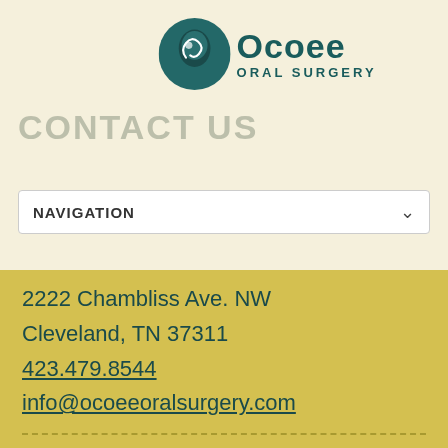[Figure (logo): Ocoee Oral Surgery logo with teal circular icon and text]
CONTACT US
NAVIGATION
2222 Chambliss Ave. NW
Cleveland, TN 37311
423.479.8544
info@ocoeeoralsurgery.com
FIND US ELSEWHERE
[Figure (illustration): Social media icons: a shield/flame icon, Facebook f icon, Google G icon]